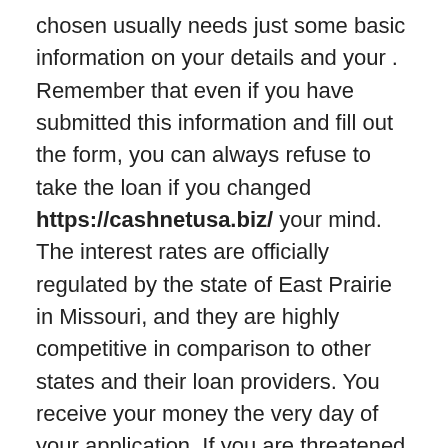chosen usually needs just some basic information on your details and your . Remember that even if you have submitted this information and fill out the form, you can always refuse to take the loan if you changed https://cashnetusa.biz/ your mind. The interest rates are officially regulated by the state of East Prairie in Missouri, and they are highly competitive in comparison to other states and their loan providers. You receive your money the very day of your application. If you are threatened with some fines from certain institutions in case, your payment is late. For example, the overdraft of your account can result in an overdraft charge.
Often, a lot of research is required by going through the Internet for several offers.
You need to, whether it is a credit line or a payday